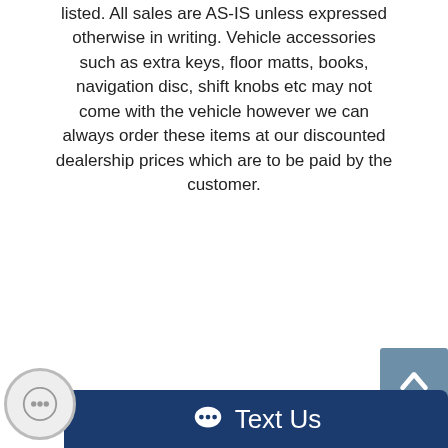listed. All sales are AS-IS unless expressed otherwise in writing. Vehicle accessories such as extra keys, floor matts, books, navigation disc, shift knobs etc may not come with the vehicle however we can always order these items at our discounted dealership prices which are to be paid by the customer.
Visit Used Imports Auto online at www.uiautos.com to see more pictures of this vehicle or call us at 770-881-8008 today to schedule your test drive. ** LOWEST FINANCING RATES ** ALL CREDIT WELCOMED TO APPLY ** $0 DOWN LOANS AVAILABLE ** ...APPLY ONLINE at WWW.UIAUTOS.COM ....FOR BEST BUYING EXPERIENCE, CALL NOW at 770-
[Figure (other): Dark blue 'Text Us' button bar at the bottom with a chat bubble icon and circular icon on the left]